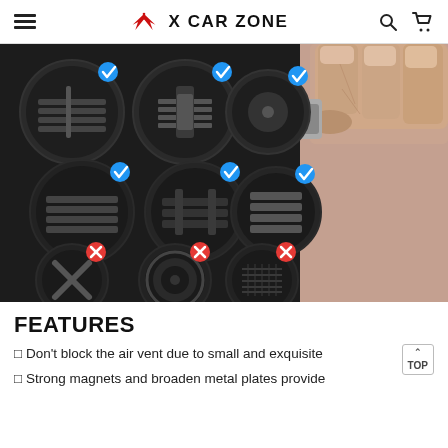X CAR ZONE
[Figure (photo): Product compatibility photo showing a hand holding a car phone mount clip near various car air vents. Top two rows show 6 circular vent images with blue checkmarks indicating compatibility, and bottom row shows 3 circular vent images with red X marks indicating incompatibility.]
FEATURES
□ Don't block the air vent due to small and exquisite
□ Strong magnets and broaden metal plates provide